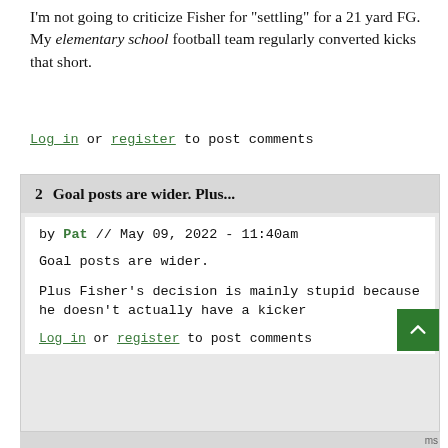I'm not going to criticize Fisher for "settling" for a 21 yard FG. My elementary school football team regularly converted kicks that short.
Log in or register to post comments
2  Goal posts are wider. Plus...
by Pat // May 09, 2022 - 11:40am
Goal posts are wider.
Plus Fisher's decision is mainly stupid because he doesn't actually have a kicker
Log in or register to post comments